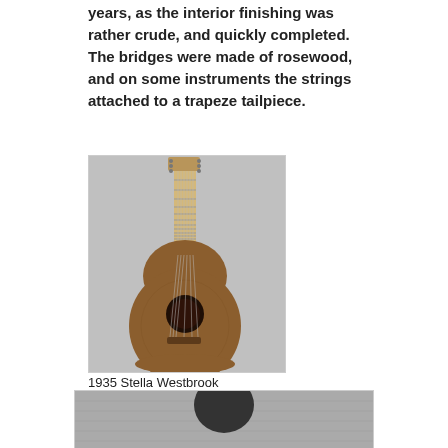years, as the interior finishing was rather crude, and quickly completed. The bridges were made of rosewood, and on some instruments the strings attached to a trapeze tailpiece.
[Figure (photo): Photograph of a 1935 Stella Westbrook acoustic guitar, full body shown against a gray background]
1935 Stella Westbrook
The fretboard was usually made of birch or maple and it was stained black. Unfortunately this stain caused some of the boards to eventually rot.
[Figure (photo): Black and white photograph of a person, partially visible at bottom of page]